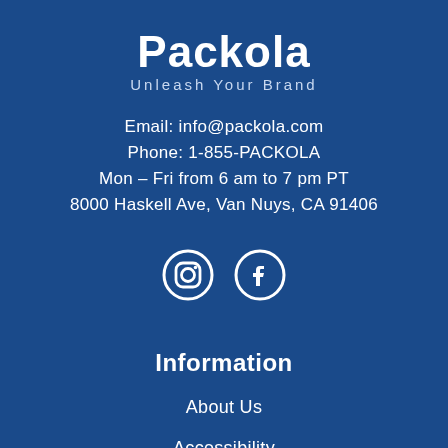Packola
Unleash Your Brand
Email: info@packola.com
Phone: 1-855-PACKOLA
Mon – Fri from 6 am to 7 pm PT
8000 Haskell Ave, Van Nuys, CA 91406
[Figure (illustration): Instagram and Facebook social media icons in white outline style on dark blue background]
Information
About Us
Accessibility
Customer Stories
Boxing and Packaging Articles